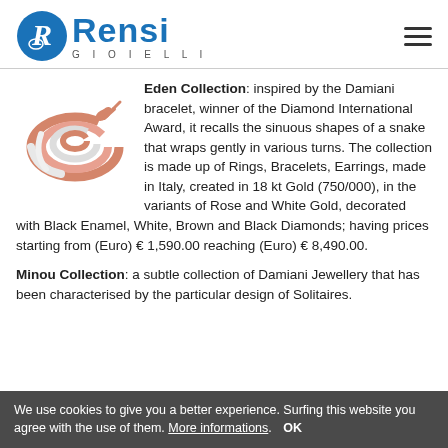[Figure (logo): Rensi Gioielli logo with blue oval R icon and blue Rensi text with GIOIELLI subtitle]
[Figure (photo): Rose gold and white gold snake coil ring/bracelet jewelry]
Eden Collection: inspired by the Damiani bracelet, winner of the Diamond International Award, it recalls the sinuous shapes of a snake that wraps gently in various turns. The collection is made up of Rings, Bracelets, Earrings, made in Italy, created in 18 kt Gold (750/000), in the variants of Rose and White Gold, decorated with Black Enamel, White, Brown and Black Diamonds; having prices starting from (Euro) € 1,590.00 reaching (Euro) € 8,490.00.
Minou Collection: a subtle collection of Damiani Jewellery that has been characterised by the particular design of Solitaires.
We use cookies to give you a better experience. Surfing this website you agree with the use of them. More informations.   OK